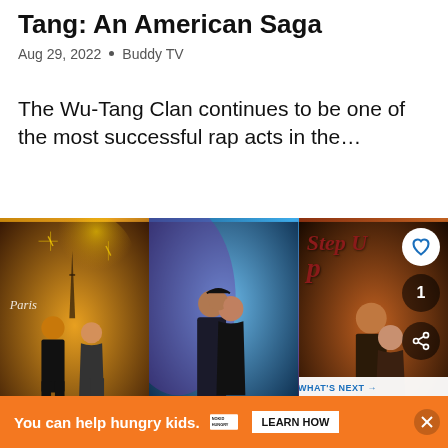Tang: An American Saga
Aug 29, 2022 • Buddy TV
The Wu-Tang Clan continues to be one of the most successful rap acts in the…
[Figure (photo): Three movie poster panels side by side: a Step Up series film poster (Paris), a romance/dance film poster, and the Step Up (2006) original poster with 'Step Up' title text and a heart/share button overlay, plus a 'What's Next' overlay showing 'The Vampire Diaries'...]
You can help hungry kids. NOKID HUNGRY LEARN HOW